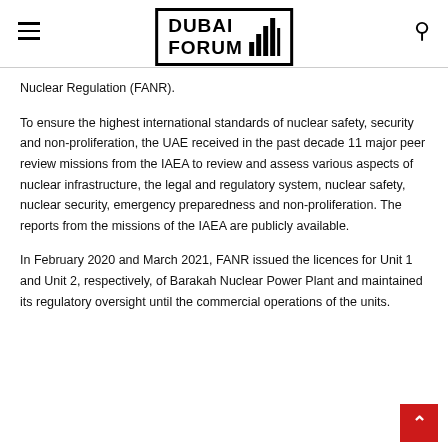DUBAI FORUM [logo with bar chart icon]
Nuclear Regulation (FANR).
To ensure the highest international standards of nuclear safety, security and non-proliferation, the UAE received in the past decade 11 major peer review missions from the IAEA to review and assess various aspects of nuclear infrastructure, the legal and regulatory system, nuclear safety, nuclear security, emergency preparedness and non-proliferation. The reports from the missions of the IAEA are publicly available.
In February 2020 and March 2021, FANR issued the licences for Unit 1 and Unit 2, respectively, of Barakah Nuclear Power Plant and maintained its regulatory oversight until the commercial operations of the units.